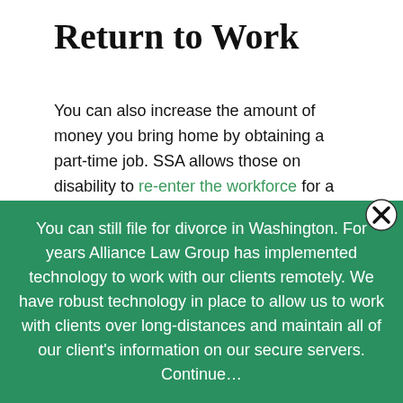Return to Work
You can also increase the amount of money you bring home by obtaining a part-time job. SSA allows those on disability to re-enter the workforce for a period of 9 months to see if they can do work.
After this nine-month period, you can earn up to a certain amount each month and still qualify for benefits for a period of 36 months. The maximum
You can still file for divorce in Washington. For years Alliance Law Group has implemented technology to work with our clients remotely. We have robust technology in place to allow us to work with clients over long-distances and maintain all of our client's information on our secure servers. Continue…